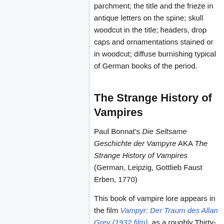parchment; the title and the frieze in antique letters on the spine; skull woodcut in the title; headers, drop caps and ornamentations stained or in woodcut; diffuse burnishing typical of German books of the period.
The Strange History of Vampires
Paul Bonnat's Die Seltsame Geschichte der Vampyre AKA The Strange History of Vampires (German, Leipzig, Gottlieb Faust Erben, 1770)
This book of vampire lore appears in the film Vampyr: Der Traum des Allan Grey (1932 film), as a roughly Thirty-Twomo-sized antique volume (about 5"x2"), with a dark (leather?) binding, wrapped in